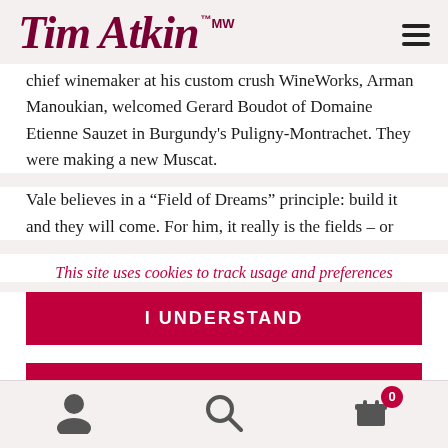Tim Atkin MW
chief winemaker at his custom crush WineWorks, Arman Manoukian, welcomed Gerard Boudot of Domaine Etienne Sauzet in Burgundy's Puligny-Montrachet. They were making a new Muscat.
Vale believes in a “Field of Dreams” principle: build it and they will come. For him, it really is the fields – or
This site uses cookies to track usage and preferences
I UNDERSTAND
PRIVACY POLICY